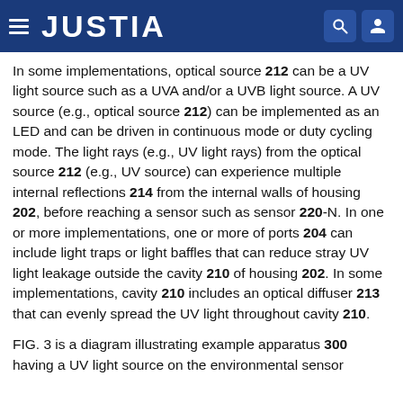JUSTIA
In some implementations, optical source 212 can be a UV light source such as a UVA and/or a UVB light source. A UV source (e.g., optical source 212) can be implemented as an LED and can be driven in continuous mode or duty cycling mode. The light rays (e.g., UV light rays) from the optical source 212 (e.g., UV source) can experience multiple internal reflections 214 from the internal walls of housing 202, before reaching a sensor such as sensor 220-N. In one or more implementations, one or more of ports 204 can include light traps or light baffles that can reduce stray UV light leakage outside the cavity 210 of housing 202. In some implementations, cavity 210 includes an optical diffuser 213 that can evenly spread the UV light throughout cavity 210.
FIG. 3 is a diagram illustrating example apparatus 300 having a UV light source on the environmental sensor...